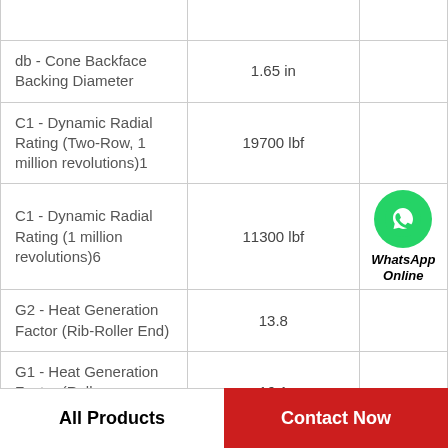| Parameter | Value |  |
| --- | --- | --- |
| db - Cone Backface Backing Diameter | 1.65 in |  |
| C1 - Dynamic Radial Rating (Two-Row, 1 million revolutions)1 | 19700 lbf |  |
| C1 - Dynamic Radial Rating (1 million revolutions)6 | 11300 lbf | WhatsApp Online |
| G2 - Heat Generation Factor (Rib-Roller End) | 13.8 |  |
| G1 - Heat Generation Factor (Roller-Raceway) | 16.1 |  |
All Products    Contact Now